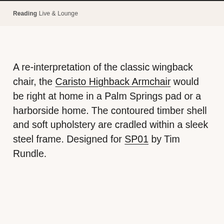Reading Live & Lounge
A re-interpretation of the classic wingback chair, the Caristo Highback Armchair would be right at home in a Palm Springs pad or a harborside home. The contoured timber shell and soft upholstery are cradled within a sleek steel frame. Designed for SP01 by Tim Rundle.